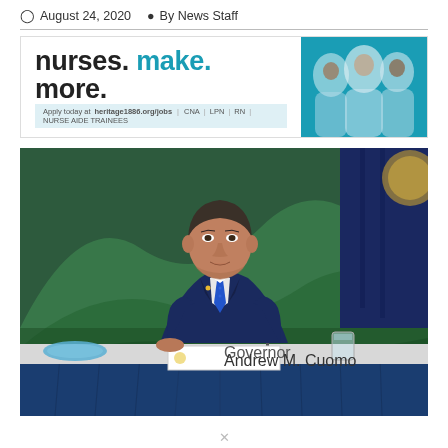August 24, 2020  By News Staff
[Figure (photo): Advertisement banner: 'nurses. make. more.' with people in teal background. Apply today at heritage1886.org/jobs. CNA | LPN | RN | NURSE AIDE TRAINEES]
[Figure (photo): Governor Andrew M. Cuomo seated at a press briefing table with a blue tablecloth, wearing a dark suit and blue tie, with a mountain mural background. A nameplate reads 'Governor Andrew M. Cuomo'.]